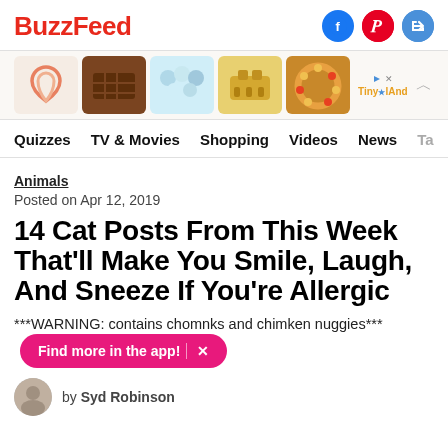BuzzFeed
[Figure (screenshot): Ad strip with product thumbnails: rainbow bowl, chocolate bar, baubles, toaster, floral wreath, and Tiny Land ad logo]
Quizzes  TV & Movies  Shopping  Videos  News  Ta
Animals
Posted on Apr 12, 2019
14 Cat Posts From This Week That'll Make You Smile, Laugh, And Sneeze If You're Allergic
***WARNING: contains chomnks and chimken nuggies***
Find more in the app!  X
by Syd Robinson